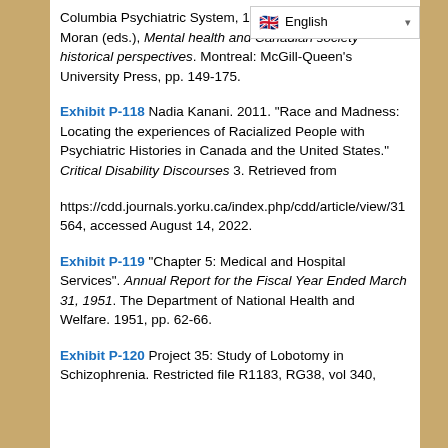Columbia Psychiatric System, 1... Wright and James E. Moran (eds.), Mental health and Canadian society historical perspectives. Montreal: McGill-Queen's University Press, pp. 149-175.
Exhibit P-118 Nadia Kanani. 2011. "Race and Madness: Locating the experiences of Racialized People with Psychiatric Histories in Canada and the United States." Critical Disability Discourses 3. Retrieved from https://cdd.journals.yorku.ca/index.php/cdd/article/view/31564, accessed August 14, 2022.
Exhibit P-119 "Chapter 5: Medical and Hospital Services". Annual Report for the Fiscal Year Ended March 31, 1951. The Department of National Health and Welfare. 1951, pp. 62-66.
Exhibit P-120 Project 35: Study of Lobotomy in Schizophrenia. Restricted file R1183, RG38, vol 340,